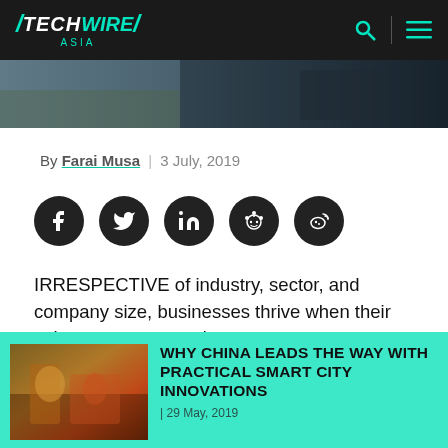TECHWIRE ASIA
[Figure (photo): Partial photo strip showing a dark indoor scene, top of article image]
By Farai Musa | 3 July, 2019
[Figure (infographic): Row of 5 dark circular social media share buttons: Facebook, Twitter, LinkedIn, Reddit, Weibo]
IRRESPECTIVE of industry, sector, and company size, businesses thrive when their sales teams succeed.
[Figure (photo): Thumbnail photo of a Chinese street food scene with people eating outdoors]
WHY CHINA LEADS THE WAY WITH PRACTICAL SMART CITY INNOVATIONS
| 29 May, 2019